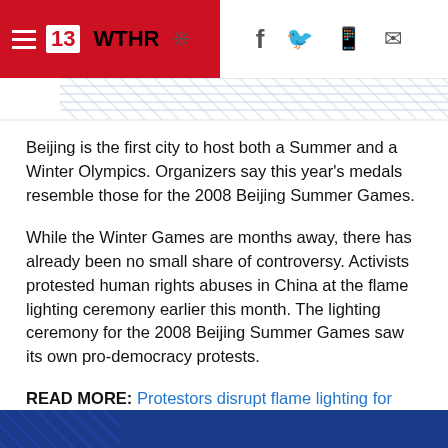13 WTHR (logo) | f (Facebook) | (Twitter) | (Mobile) | (Email)
Beijing is the first city to host both a Summer and a Winter Olympics. Organizers say this year's medals resemble those for the 2008 Beijing Summer Games.
While the Winter Games are months away, there has already been no small share of controversy. Activists protested human rights abuses in China at the flame lighting ceremony earlier this month. The lighting ceremony for the 2008 Beijing Summer Games saw its own pro-democracy protests.
READ MORE: Protestors disrupt flame lighting for Beijing Winter Games